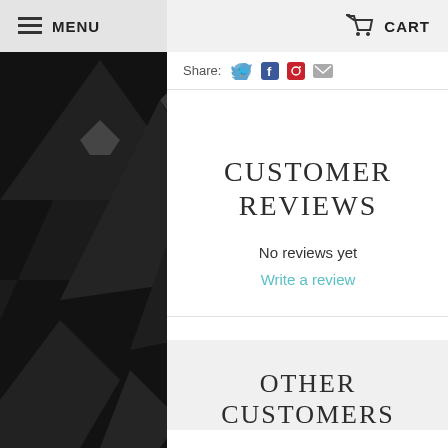MENU   CART
Share:
CUSTOMER REVIEWS
No reviews yet
Write a review
OTHER CUSTOMERS BOUGHT